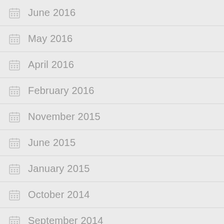June 2016
May 2016
April 2016
February 2016
November 2015
June 2015
January 2015
October 2014
September 2014
August 2014
July 2014